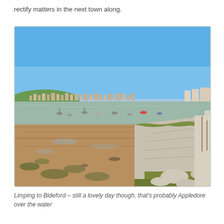rectify matters in the next town along.
[Figure (photo): A coastal estuary scene at low tide showing mudflats with scattered boats, a rocky seawall/embankment on the right, a town (likely Appledore) visible across the water on a headland, and a clear bright blue sky. Photographed on a sunny day walking towards Bideford.]
Limping to Bideford – still a lovely day though, that's probably Appledore over the water